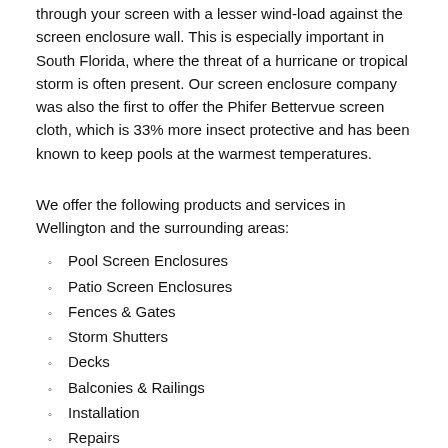through your screen with a lesser wind-load against the screen enclosure wall. This is especially important in South Florida, where the threat of a hurricane or tropical storm is often present. Our screen enclosure company was also the first to offer the Phifer Bettervue screen cloth, which is 33% more insect protective and has been known to keep pools at the warmest temperatures.
We offer the following products and services in Wellington and the surrounding areas:
Pool Screen Enclosures
Patio Screen Enclosures
Fences & Gates
Storm Shutters
Decks
Balconies & Railings
Installation
Repairs
& More!